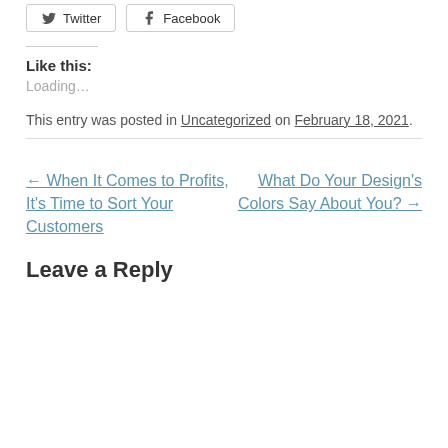[Figure (other): Twitter and Facebook share buttons]
Like this:
Loading...
This entry was posted in Uncategorized on February 18, 2021.
← When It Comes to Profits, It's Time to Sort Your Customers
What Do Your Design's Colors Say About You? →
Leave a Reply